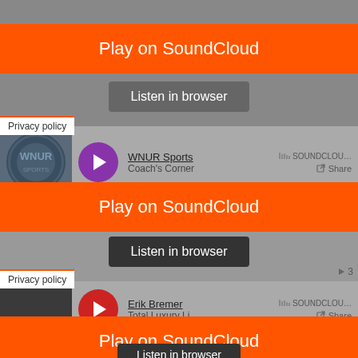[Figure (screenshot): Orange 'Play on SoundCloud' button banner]
[Figure (screenshot): Gray 'Listen in browser' button]
Privacy policy
[Figure (screenshot): SoundCloud embed showing WNUR Sports Coach's Corner with purple play button, Share button, and SoundCloud logo]
[Figure (screenshot): Orange 'Play on SoundCloud' button banner overlaid on WNUR Sports embed]
[Figure (screenshot): Dark 'Listen in browser' button]
Privacy policy
[Figure (screenshot): SoundCloud embed showing Erik Bremer Total Luxury Li with red play button, Share button, and SoundCloud logo]
[Figure (screenshot): Orange 'Play on SoundCloud' button banner overlaid on Erik Bremer embed]
[Figure (screenshot): Dark 'Listen in browser' button (partially visible)]